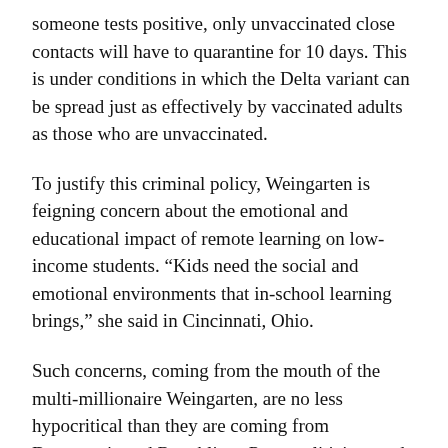someone tests positive, only unvaccinated close contacts will have to quarantine for 10 days. This is under conditions in which the Delta variant can be spread just as effectively by vaccinated adults as those who are unvaccinated.
To justify this criminal policy, Weingarten is feigning concern about the emotional and educational impact of remote learning on low-income students. “Kids need the social and emotional environments that in-school learning brings,” she said in Cincinnati, Ohio.
Such concerns, coming from the mouth of the multi-millionaire Weingarten, are no less hypocritical than they are coming from Democratic and Republican Party politicians and the corporate media.
The AFT and NEA have not conducted a single campaign against budget cutting, school closures and the expansion